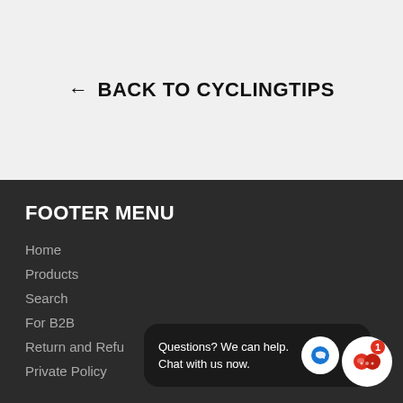← BACK TO CYCLINGTIPS
FOOTER MENU
Home
Products
Search
For B2B
Return and Refu...
Private Policy
Questions? We can help. Chat with us now.